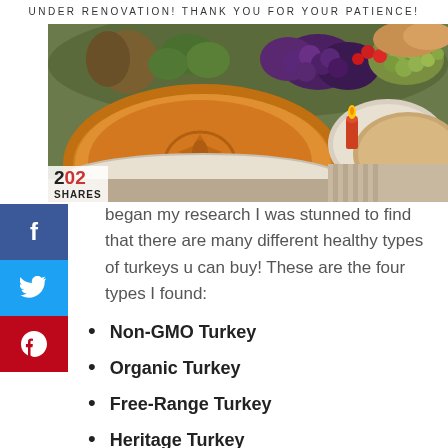UNDER RENOVATION! THANK YOU FOR YOUR PATIENCE!
[Figure (photo): Thanksgiving spread with pumpkin pie in foreground, various fruits and vegetables in background, plates and a candle visible.]
202 SHARES
began my research I was stunned to find that there are many different healthy types of turkeys u can buy! These are the four types I found:
Non-GMO Turkey
Organic Turkey
Free-Range Turkey
Heritage Turkey